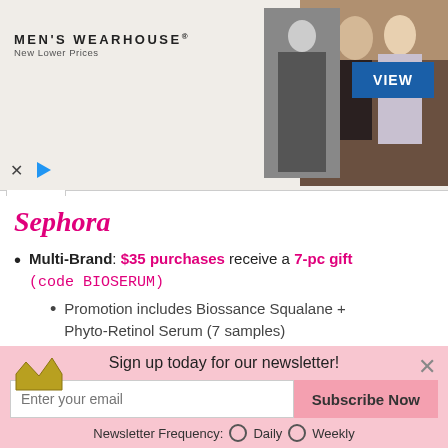[Figure (screenshot): Men's Wearhouse advertisement banner showing a couple in formal wear and a solo man in a suit, with a blue VIEW button]
Sephora
Multi-Brand: $35 purchases receive a 7-pc gift (code BIOSERUM)
Promotion includes Biossance Squalane + Phyto-Retinol Serum (7 samples) #RealResultsChallenge
Sephora offers Free Shipping on purchases of $50 or more. Sephora offers Free Shipping for Flash
Sign up today for our newsletter!
Enter your email / Subscribe Now / Newsletter Frequency: Daily / Weekly